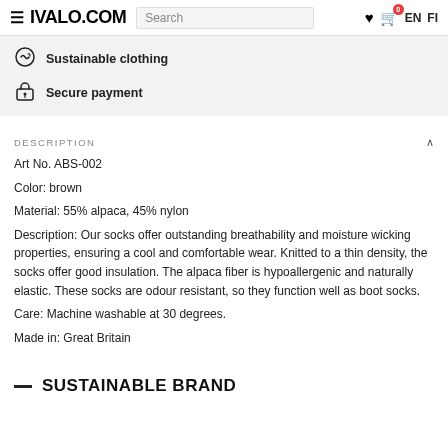IVALO.COM | Search | EN FI
Sustainable clothing
Secure payment
DESCRIPTION
Art No. ABS-002
Color: brown
Material: 55% alpaca, 45% nylon
Description: Our socks offer outstanding breathability and moisture wicking properties, ensuring a cool and comfortable wear. Knitted to a thin density, the socks offer good insulation. The alpaca fiber is hypoallergenic and naturally elastic. These socks are odour resistant, so they function well as boot socks.
Care: Machine washable at 30 degrees.
Made in: Great Britain
— SUSTAINABLE BRAND